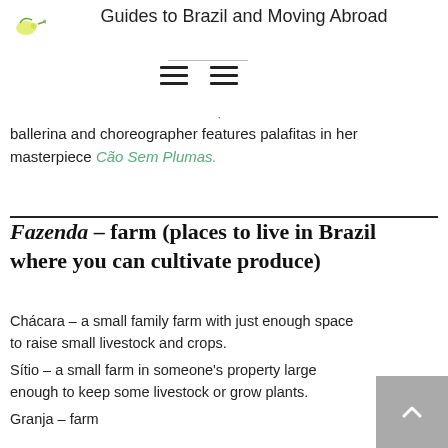Guides to Brazil and Moving Abroad
[Figure (logo): Small yellow-green lemon/lime logo icon]
ballerina and choreographer features palafitas in her masterpiece Cão Sem Plumas.
Fazenda – farm (places to live in Brazil where you can cultivate produce)
Chácara – a small family farm with just enough space to raise small livestock and crops.
Sítio – a small farm in someone's property large enough to keep some livestock or grow plants.
Granja – farm